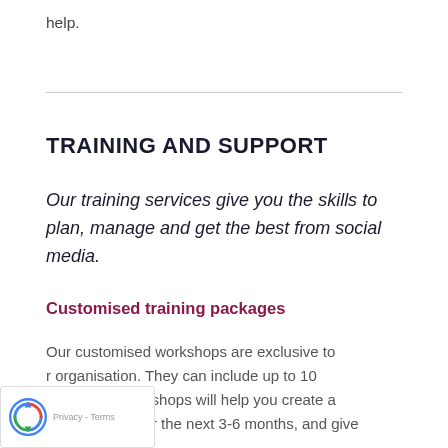help.
TRAINING AND SUPPORT
Our training services give you the skills to plan, manage and get the best from social media.
Customised training packages
Our customised workshops are exclusive to your organisation. They can include up to 10 people. These workshops will help you create a plan of action for the next 3-6 months, and give